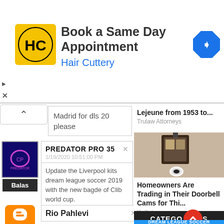[Figure (screenshot): Advertisement banner for Hair Cuttery showing logo, 'Book a Same Day Appointment' text, navigation arrow icon, and close/play controls]
Madrid for dls 20 please
[Figure (screenshot): User avatar with purple logo on dark blue background and Balas button below]
PREDATOR PRO 35 ×
1/19/2020 10:51:00 PM
Update the Liverpool kits dream league soccer 2019 with the new bagde of Clib world cup.
Rio Pahlevi ×
Lejeune from 1953 to...
Trulaw Attorneys
[Figure (photo): Photo of a wall-mounted outdoor lantern light fixture with a security camera below it]
Homeowners Are Trading in Their Doorbell Cams for Thi...
Keilini
Sponsored Links by Taboola
CATEGORIES
DREAM LEAGUE SOCCER